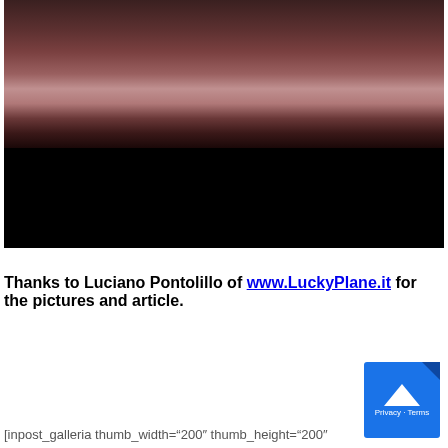[Figure (photo): Dark, blurry photograph — upper portion shows dim reddish-brown tones fading to black in the lower half]
Thanks to Luciano Pontolillo of www.LuckyPlane.it for the pictures and article.
[inpost_galleria thumb_width="200" thumb_height="200